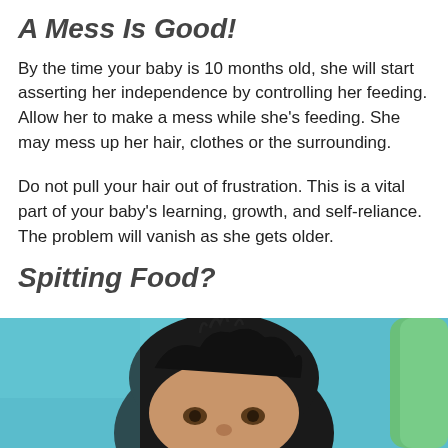A Mess Is Good!
By the time your baby is 10 months old, she will start asserting her independence by controlling her feeding. Allow her to make a mess while she’s feeding. She may mess up her hair, clothes or the surrounding.
Do not pull your hair out of frustration. This is a vital part of your baby's learning, growth, and self-reliance. The problem will vanish as she gets older.
Spitting Food?
[Figure (photo): Close-up photo of a baby with dark hair against a teal/blue background with a green element visible on the right side.]